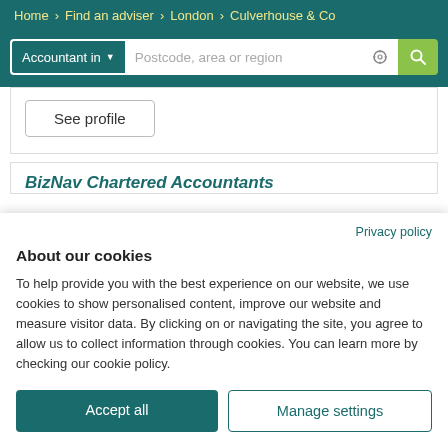Home > Find an adviser > London > Culverhouse & Co
[Figure (screenshot): Search bar with 'Accountant in' dropdown button, 'Postcode, area or region' placeholder input, location icon, and green search button]
See profile
BizNav Chartered Accountants
Privacy policy
About our cookies
To help provide you with the best experience on our website, we use cookies to show personalised content, improve our website and measure visitor data. By clicking on or navigating the site, you agree to allow us to collect information through cookies. You can learn more by checking our cookie policy.
Accept all
Manage settings